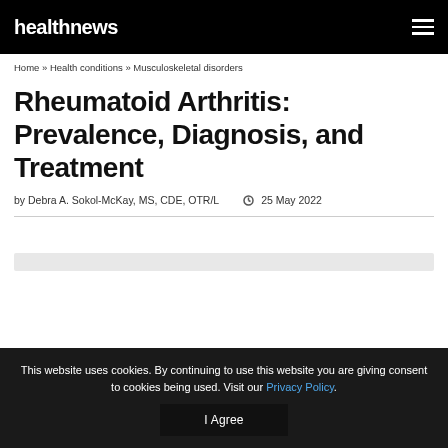healthnews
Home » Health conditions » Musculoskeletal disorders
Rheumatoid Arthritis: Prevalence, Diagnosis, and Treatment
by Debra A. Sokol-McKay, MS, CDE, OTR/L   25 May 2022
This website uses cookies. By continuing to use this website you are giving consent to cookies being used. Visit our Privacy Policy.